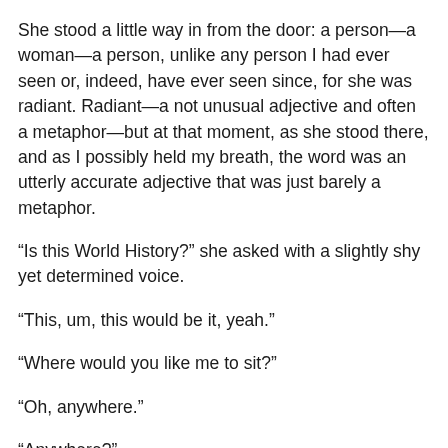She stood a little way in from the door: a person—a woman—a person, unlike any person I had ever seen or, indeed, have ever seen since, for she was radiant. Radiant—a not unusual adjective and often a metaphor—but at that moment, as she stood there, and as I possibly held my breath, the word was an utterly accurate adjective that was just barely a metaphor.
“Is this World History?” she asked with a slightly shy yet determined voice.
“This, um, this would be it, yeah.”
“Where would you like me to sit?”
“Oh, anywhere.”
“Anywhere?”